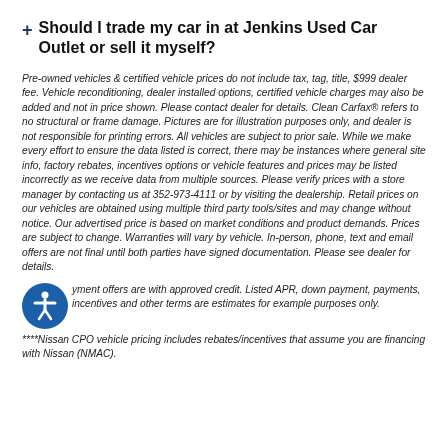Should I trade my car in at Jenkins Used Car Outlet or sell it myself?
Pre-owned vehicles & certified vehicle prices do not include tax, tag, title, $999 dealer fee. Vehicle reconditioning, dealer installed options, certified vehicle charges may also be added and not in price shown. Please contact dealer for details. Clean Carfax® refers to no structural or frame damage. Pictures are for illustration purposes only, and dealer is not responsible for printing errors. All vehicles are subject to prior sale. While we make every effort to ensure the data listed is correct, there may be instances where general site info, factory rebates, incentives options or vehicle features and prices may be listed incorrectly as we receive data from multiple sources. Please verify prices with a store manager by contacting us at 352-973-4111 or by visiting the dealership. Retail prices on our vehicles are obtained using multiple third party tools/sites and may change without notice. Our advertised price is based on market conditions and product demands. Prices are subject to change. Warranties will vary by vehicle. In-person, phone, text and email offers are not final until both parties have signed documentation. Please see dealer for details.
Payment offers are with approved credit. Listed APR, down payment, payments, incentives and other terms are estimates for example purposes only.
****Nissan CPO vehicle pricing includes rebates/incentives that assume you are financing with Nissan (NMAC).